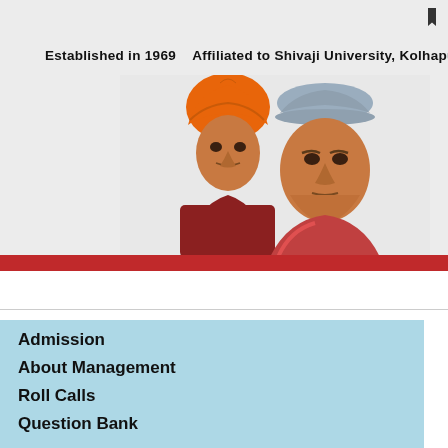Established in 1969    Affiliated to Shivaji University, Kolhapur
[Figure (illustration): Portrait illustrations of two figures — Swami Vivekananda wearing an orange turban on the left, and another leader wearing a grey cap on the right, set against a light grey background]
Admission
About Management
Roll Calls
Question Bank